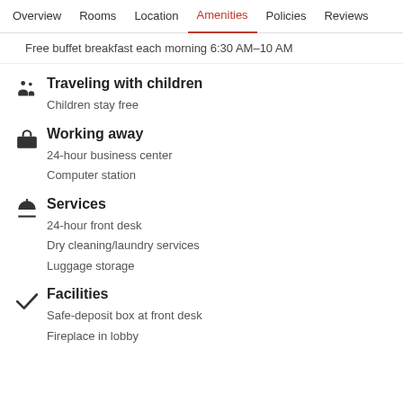Overview  Rooms  Location  Amenities  Policies  Reviews
Free buffet breakfast each morning 6:30 AM–10 AM
Traveling with children
Children stay free
Working away
24-hour business center
Computer station
Services
24-hour front desk
Dry cleaning/laundry services
Luggage storage
Facilities
Safe-deposit box at front desk
Fireplace in lobby